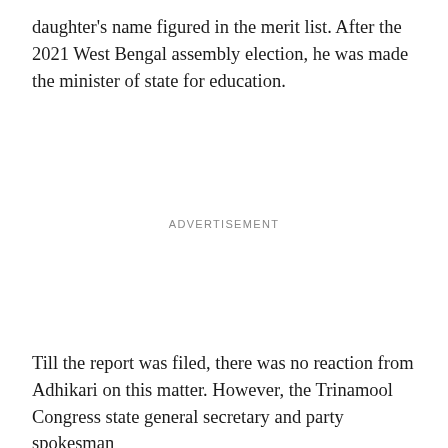daughter's name figured in the merit list. After the 2021 West Bengal assembly election, he was made the minister of state for education.
ADVERTISEMENT
Till the report was filed, there was no reaction from Adhikari on this matter. However, the Trinamool Congress state general secretary and party spokesman